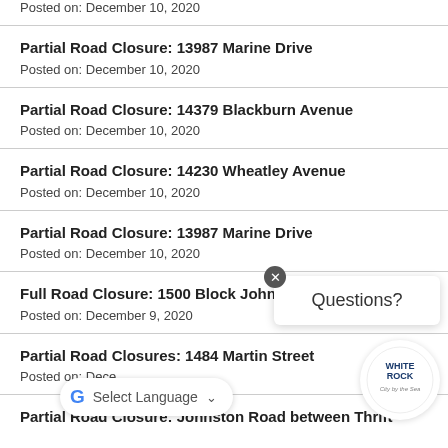Posted on: December 10, 2020
Partial Road Closure: 13987 Marine Drive
Posted on: December 10, 2020
Partial Road Closure: 14379 Blackburn Avenue
Posted on: December 10, 2020
Partial Road Closure: 14230 Wheatley Avenue
Posted on: December 10, 2020
Partial Road Closure: 13987 Marine Drive
Posted on: December 10, 2020
Full Road Closure: 1500 Block Johnston Road
Posted on: December 9, 2020
Partial Road Closures: 1484 Martin Street
Posted on: Dece…
Partial Road Closure: Johnston Road between Thrift